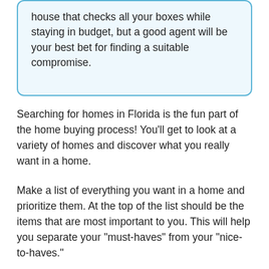house that checks all your boxes while staying in budget, but a good agent will be your best bet for finding a suitable compromise.
Searching for homes in Florida is the fun part of the home buying process! You'll get to look at a variety of homes and discover what you really want in a home.
Make a list of everything you want in a home and prioritize them. At the top of the list should be the items that are most important to you. This will help you separate your "must-haves" from your "nice-to-haves."